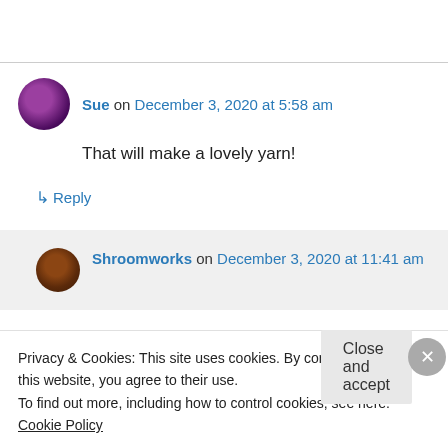Sue on December 3, 2020 at 5:58 am
That will make a lovely yarn!
↳ Reply
Shroomworks on December 3, 2020 at 11:41 am
Privacy & Cookies: This site uses cookies. By continuing to use this website, you agree to their use.
To find out more, including how to control cookies, see here: Cookie Policy
Close and accept